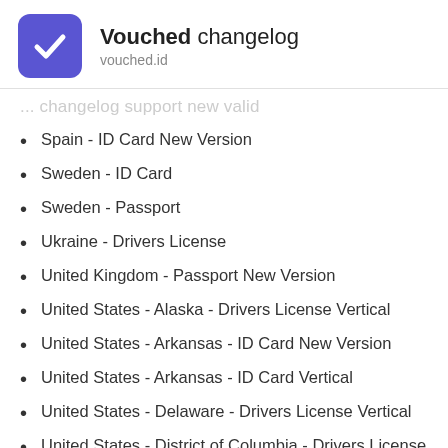Vouched changelog
vouched.id
... (partial heading text cut off)
Spain - ID Card New Version
Sweden - ID Card
Sweden - Passport
Ukraine - Drivers License
United Kingdom - Passport New Version
United States - Alaska - Drivers License Vertical
United States - Arkansas - ID Card New Version
United States - Arkansas - ID Card Vertical
United States - Delaware - Drivers License Vertical
United States - District of Columbia - Drivers License Vertical
United States - District of Columbia - ID Card Vertical